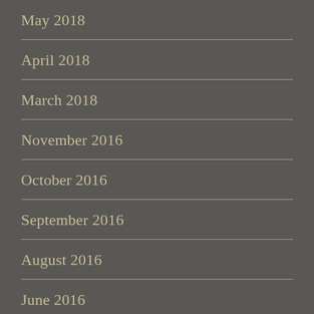May 2018
April 2018
March 2018
November 2016
October 2016
September 2016
August 2016
June 2016